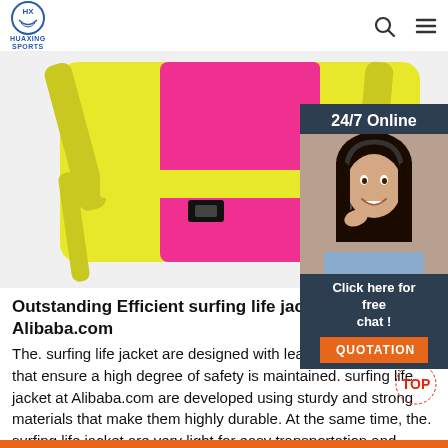HUAXING SPORTS
[Figure (photo): Yellow and pink surfing life jacket product photo on white background]
[Figure (photo): 24/7 Online customer service widget showing a woman with headset, with 'Click here for free chat!' text and QUOTATION button]
Outstanding Efficient surfing life jacket At Alibaba.com
The. surfing life jacket are designed with leading innovations that ensure a high degree of safety is maintained. surfing life jacket at Alibaba.com are developed using sturdy and strong materials that make them highly durable. At the same time, the. surfing life jacket are very light for easy transportation and buoyancy that is needed in ...